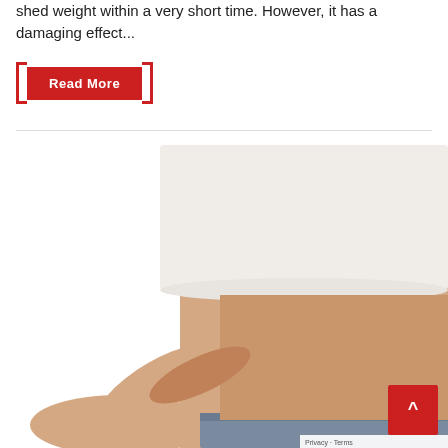shed weight within a very short time. However, it has a damaging effect...
Read More
[Figure (photo): Woman in white crop top showing her slim midriff and abdomen, wearing jeans, weight loss concept photo]
Privacy · Terms